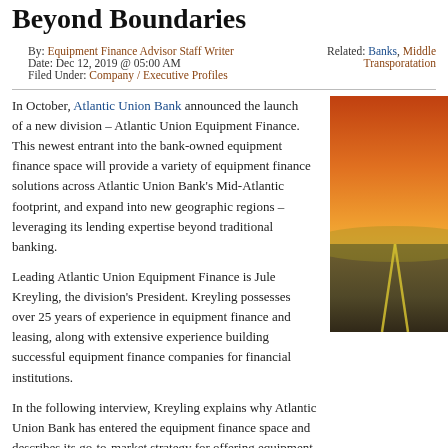Beyond Boundaries
By: Equipment Finance Advisor Staff Writer
Date: Dec 12, 2019 @ 05:00 AM
Filed Under: Company / Executive Profiles
Related: Banks, Middle Transporatation
In October, Atlantic Union Bank announced the launch of a new division – Atlantic Union Equipment Finance. This newest entrant into the bank-owned equipment finance space will provide a variety of equipment finance solutions across Atlantic Union Bank's Mid-Atlantic footprint, and expand into new geographic regions – leveraging its lending expertise beyond traditional banking.
[Figure (photo): Photo of a road at sunset with orange and yellow tones, road markings visible]
Leading Atlantic Union Equipment Finance is Jule Kreyling, the division's President. Kreyling possesses over 25 years of experience in equipment finance and leasing, along with extensive experience building successful equipment finance companies for financial institutions.
In the following interview, Kreyling explains why Atlantic Union Bank has entered the equipment finance space and describes its go-to-market strategy for offering equipment finance products within and beyond the
Equipment Finance Advisor: The above of a question to be Jule Please tell...